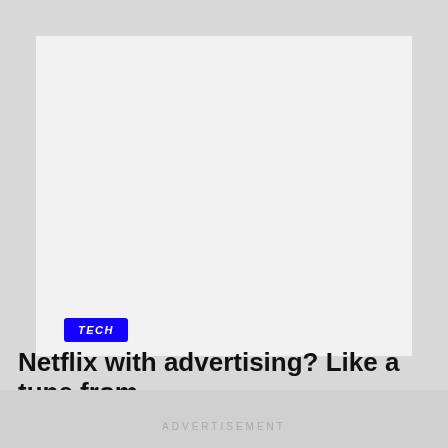[Figure (photo): Large light grey placeholder image area with a TECH badge in blue at the bottom left]
Netflix with advertising? Like a tune from
ADVERTISEMENT